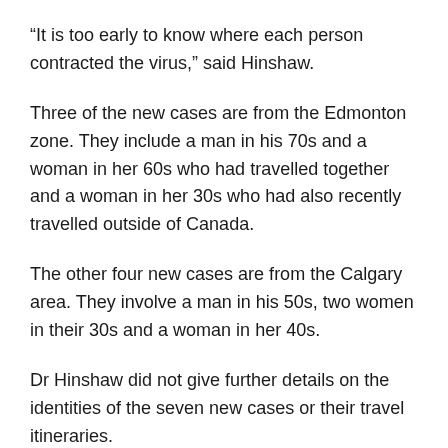“It is too early to know where each person contracted the virus,” said Hinshaw.
Three of the new cases are from the Edmonton zone. They include a man in his 70s and a woman in her 60s who had travelled together and a woman in her 30s who had also recently travelled outside of Canada.
The other four new cases are from the Calgary area. They involve a man in his 50s, two women in their 30s and a woman in her 40s.
Dr Hinshaw did not give further details on the identities of the seven new cases or their travel itineraries.
She also did not state how recent they had travelled back to